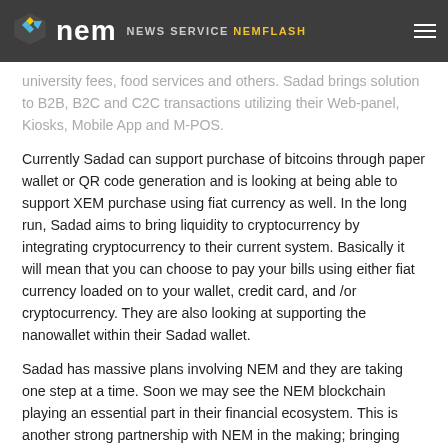NEM NEWS SERVICE NEMFLASH
university fees, food services and others. Sadad brings solution to B2B, B2C and C2C transactions utilizing their Web-panel, Kiosks, Mobile App and M-POS.
Currently Sadad can support purchase of bitcoins through paper wallet or QR code generation and is looking at being able to support XEM purchase using fiat currency as well. In the long run, Sadad aims to bring liquidity to cryptocurrency by integrating cryptocurrency to their current system. Basically it will mean that you can choose to pay your bills using either fiat currency loaded on to your wallet, credit card, and /or cryptocurrency. They are also looking at supporting the nanowallet within their Sadad wallet.
Sadad has massive plans involving NEM and they are taking one step at a time. Soon we may see the NEM blockchain playing an essential part in their financial ecosystem. This is another strong partnership with NEM in the making; bringing cryptoassets and blockchain adoption closer to be used in our everyday lives.